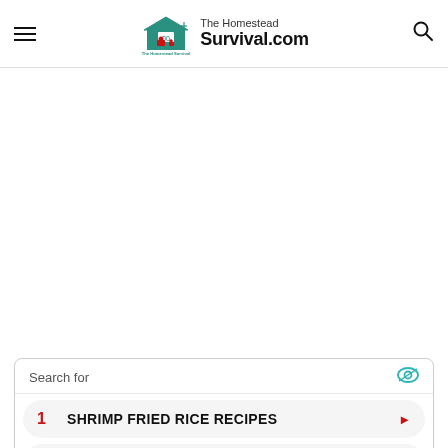The Homestead Survival.com
[Figure (other): Large blank white advertisement area in the middle of the page]
Search for
1 SHRIMP FRIED RICE RECIPES
2 ORANGE CHICKEN RECIPE